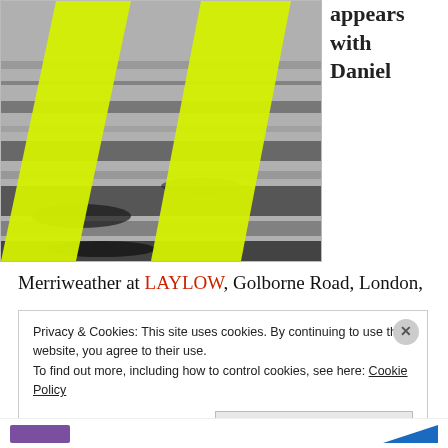[Figure (illustration): Book cover or artwork with yellow/lime lightning bolt shapes overlaid on a black-and-white textured background (cracked ground/pavement). Bold graphic design with diagonal yellow triangles.]
appears with Daniel
Merriweather at LAYLOW, Golborne Road, London,
Privacy & Cookies: This site uses cookies. By continuing to use this website, you agree to their use.
To find out more, including how to control cookies, see here: Cookie Policy
Close and accept